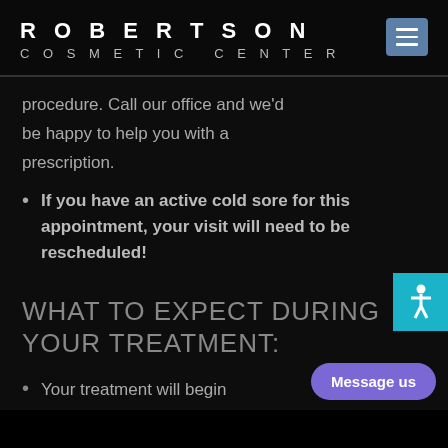ROBERTSON COSMETIC CENTER
procedure. Call our office and we'd be happy to help you with a prescription.
If you have an active cold sore for this appointment, your visit will need to be rescheduled!
WHAT TO EXPECT DURING YOUR TREATMENT:
Your treatment will begin